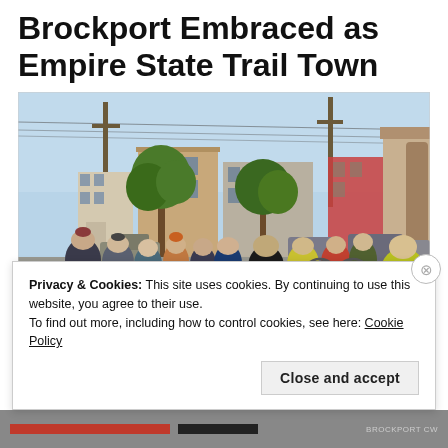Brockport Embraced as Empire State Trail Town
[Figure (photo): Group of cyclists and pedestrians gathered on a sidewalk in a small town street, with brick buildings, trees, and power lines in the background. People are wearing helmets and some are with bicycles.]
Privacy & Cookies: This site uses cookies. By continuing to use this website, you agree to their use.
To find out more, including how to control cookies, see here: Cookie Policy